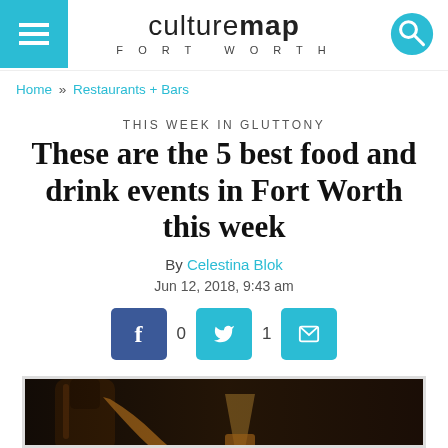culturemap FORT WORTH
Home » Restaurants + Bars
THIS WEEK IN GLUTTONY
These are the 5 best food and drink events in Fort Worth this week
By Celestina Blok
Jun 12, 2018, 9:43 am
[Figure (photo): Whiskey bottle being poured into a glass, dark moody background]